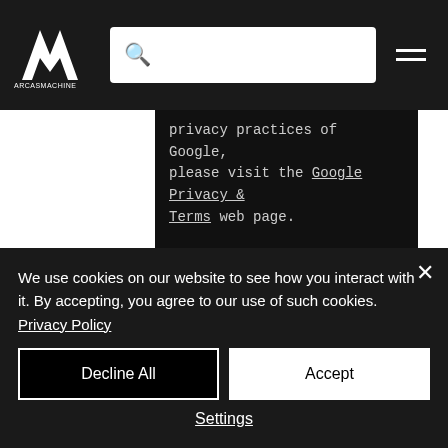[Figure (logo): ArcasMachine logo - stylized AM letters in white on dark background]
privacy practices of Google, please visit the Google Privacy & Terms web page.
Links to Other Websites
Our Service may contain links to other websites that are not operated by Us. If You click on a third party link, You will be directed to that third party's site. We
We use cookies on our website to see how you interact with it. By accepting, you agree to our use of such cookies. Privacy Policy
Decline All
Accept
Settings